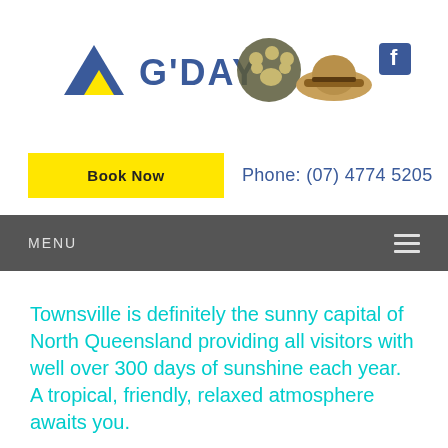[Figure (logo): G'DAY Parks logo with triangle icon, paw print emblem, straw hat image, and Facebook icon]
Book Now   Phone: (07) 4774 5205
MENU
Townsville is definitely the sunny capital of North Queensland providing all visitors with well over 300 days of sunshine each year.
A tropical, friendly, relaxed atmosphere awaits you.